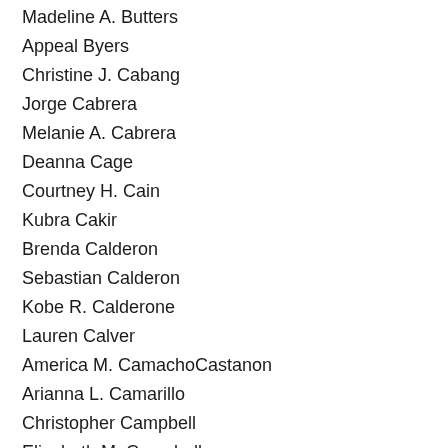Madeline A. Butters
Appeal Byers
Christine J. Cabang
Jorge Cabrera
Melanie A. Cabrera
Deanna Cage
Courtney H. Cain
Kubra Cakir
Brenda Calderon
Sebastian Calderon
Kobe R. Calderone
Lauren Calver
America M. CamachoCastanon
Arianna L. Camarillo
Christopher Campbell
Elizabeth M. Campbell
Corina Campos
Daymar Campos